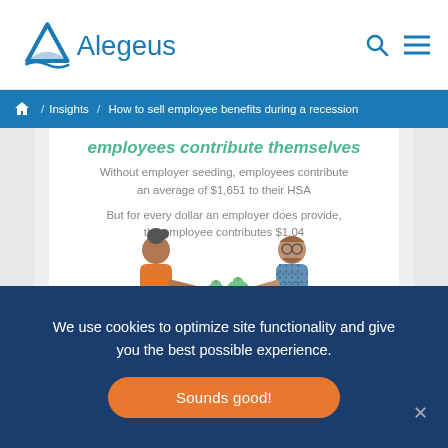[Figure (logo): Alegeus company logo with triangle/bird icon and text]
/ Insights / How to sell employee benefits during a recession
[Figure (infographic): Infographic showing employees and employer contributing to HSA, with piggy bank illustration. Partial heading 'employees contribute themselves'. Stats: Without employer seeding, employees contribute an average of $1,651 to their HSA. But for every dollar an employer does provide, the employee contributes $1.04.]
We use cookies to optimize site functionality and give you the best possible experience.
Sounds good!